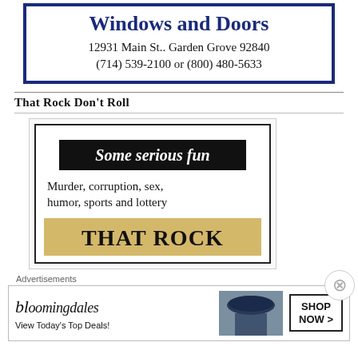[Figure (other): Advertisement for Windows and Doors company: 'Windows and Doors', '12931 Main St.. Garden Grove 92840', '(714) 539-2100 or (800) 480-5633']
That Rock Don't Roll
[Figure (other): Book advertisement with black bar 'Some serious fun', subtitle 'Murder, corruption, sex, humor, sports and lottery', gold/yellow area with text 'THAT ROCK']
Advertisements
[Figure (other): Bloomingdales advertisement: 'bloomingdales', 'View Today's Top Deals!', 'SHOP NOW >']